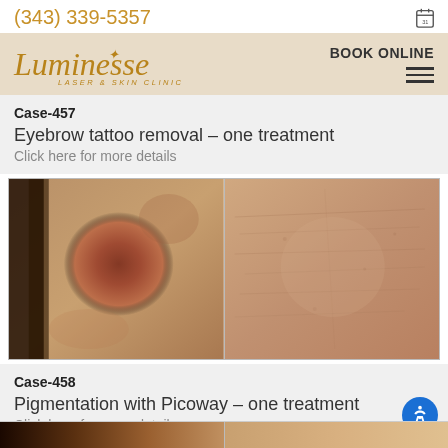(343) 339-5357
[Figure (logo): Luminesse Laser & Skin Clinic logo in gold italic script with star accent, on beige background. Navigation shows BOOK ONLINE and hamburger menu.]
Case-457
Eyebrow tattoo removal – one treatment
Click here for more details
[Figure (photo): Before and after photos for Case-458. Left: close-up of cheek with dark reddish-brown pigmented spot. Right: same area after Picoway treatment showing significant reduction in pigmentation.]
Case-458
Pigmentation with Picoway – one treatment
Click here for more details